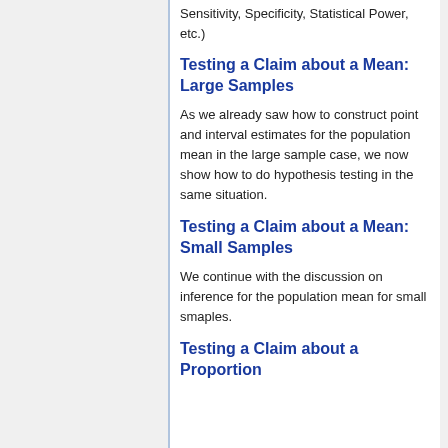Sensitivity, Specificity, Statistical Power, etc.)
Testing a Claim about a Mean: Large Samples
As we already saw how to construct point and interval estimates for the population mean in the large sample case, we now show how to do hypothesis testing in the same situation.
Testing a Claim about a Mean: Small Samples
We continue with the discussion on inference for the population mean for small smaples.
Testing a Claim about a Proportion